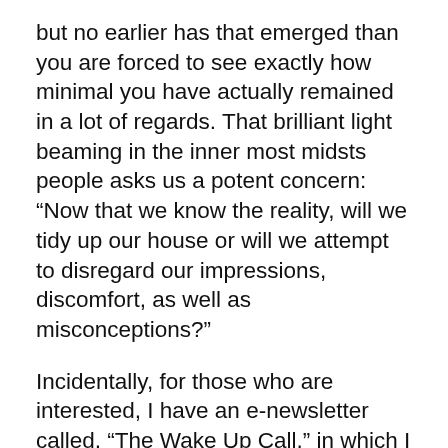but no earlier has that emerged than you are forced to see exactly how minimal you have actually remained in a lot of regards. That brilliant light beaming in the inner most midsts people asks us a potent concern: “Now that we know the reality, will we tidy up our house or will we attempt to disregard our impressions, discomfort, as well as misconceptions?”
Incidentally, for those who are interested, I have an e-newsletter called, “The Wake Up Call,” in which I on a regular basis talk about this and other subjects. Register for cost-free below:
If you are beginning on the spiritual path or seem like you have actually gotten a little